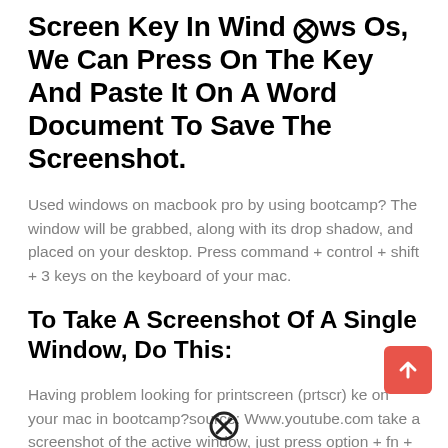Screen Key In Windows Os, We Can Press On The Key And Paste It On A Word Document To Save The Screenshot.
Used windows on macbook pro by using bootcamp? The window will be grabbed, along with its drop shadow, and placed on your desktop. Press command + control + shift + 3 keys on the keyboard of your mac.
To Take A Screenshot Of A Single Window, Do This:
Having problem looking for printscreen (prtscr) key on your mac in bootcamp?source: Www.youtube.com take a screenshot of the active window, just press option + fn + shift + f11. How to take a screenshot on mac with windows keyboard...